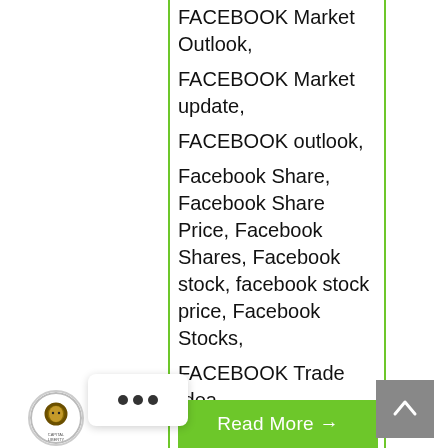FACEBOOK Market Outlook,
FACEBOOK Market update,
FACEBOOK outlook,
Facebook Share, Facebook Share Price, Facebook Shares, Facebook stock, facebook stock price, Facebook Stocks,
FACEBOOK Trade Idea,
FACEBOOK trade signal,
FACEBOOK trade suggestion,
Facebook Trading,
FACEBOOK trading signal
Trade Idea Stocks